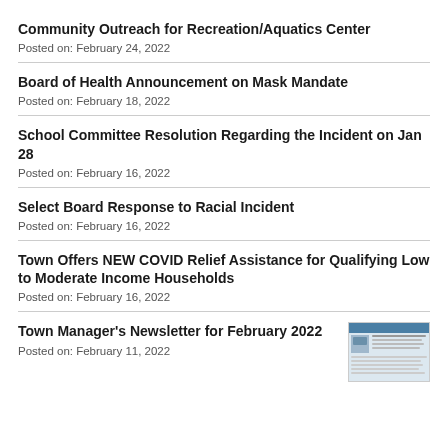Community Outreach for Recreation/Aquatics Center
Posted on: February 24, 2022
Board of Health Announcement on Mask Mandate
Posted on: February 18, 2022
School Committee Resolution Regarding the Incident on Jan 28
Posted on: February 16, 2022
Select Board Response to Racial Incident
Posted on: February 16, 2022
Town Offers NEW COVID Relief Assistance for Qualifying Low to Moderate Income Households
Posted on: February 16, 2022
Town Manager's Newsletter for February 2022
Posted on: February 11, 2022
[Figure (screenshot): Thumbnail image of the Town Manager's Newsletter for February 2022]